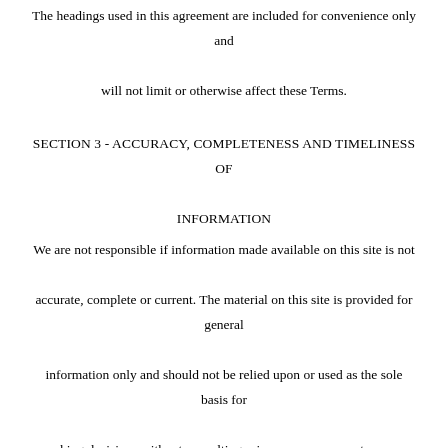The headings used in this agreement are included for convenience only and will not limit or otherwise affect these Terms.
SECTION 3 - ACCURACY, COMPLETENESS AND TIMELINESS OF INFORMATION
We are not responsible if information made available on this site is not accurate, complete or current. The material on this site is provided for general information only and should not be relied upon or used as the sole basis for making decisions without consulting primary, more accurate, more complete or more timely sources of information. Any reliance on the material on this site is at your own risk.
This site may contain certain historical information. Historical information, necessarily, is not current and is provided for your reference only. We reserve the right to modify the contents of this site at any time, but we have...